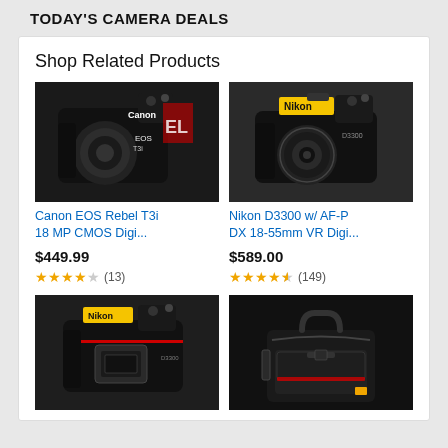TODAY'S CAMERA DEALS
Shop Related Products
[Figure (photo): Canon EOS Rebel T3i DSLR camera product photo]
[Figure (photo): Nikon D3300 with AF-P DX 18-55mm lens product photo]
Canon EOS Rebel T3i 18 MP CMOS Digi...
Nikon D3300 w/ AF-P DX 18-55mm VR Digi...
$449.99
$589.00
★★★★☆ (13)
★★★★½ (149)
[Figure (photo): Nikon D3300 camera body only product photo]
[Figure (photo): Camera bag / case product photo]